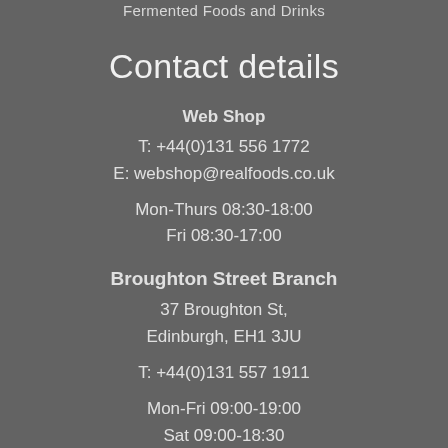Fermented Foods and Drinks
Contact details
Web Shop
T: +44(0)131 556 1772
E: webshop@realfoods.co.uk
Mon-Thurs 08:30-18:00
Fri 08:30-17:00
Broughton Street Branch
37 Broughton St,
Edinburgh, EH1 3JU
T: +44(0)131 557 1911
Mon-Fri 09:00-19:00
Sat 09:00-18:30
Sun 10:00-18:00
Tollcross Branch
8 Brougham Street,
Edinburgh, EH3 9JH